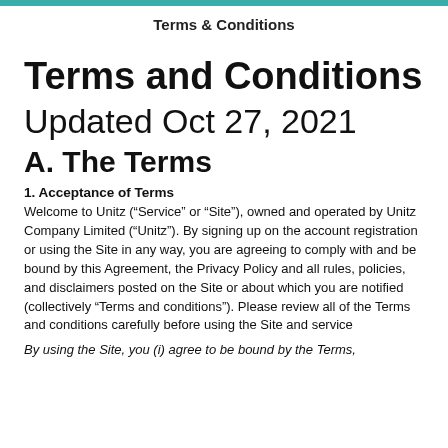Terms & Conditions
Terms and Conditions
Updated Oct 27, 2021
A. The Terms
1. Acceptance of Terms
Welcome to Unitz (“Service” or “Site”), owned and operated by Unitz Company Limited (“Unitz”). By signing up on the account registration or using the Site in any way, you are agreeing to comply with and be bound by this Agreement, the Privacy Policy and all rules, policies, and disclaimers posted on the Site or about which you are notified (collectively “Terms and conditions”). Please review all of the Terms and conditions carefully before using the Site and service
By using the Site, you (i) agree to be bound by the Terms,